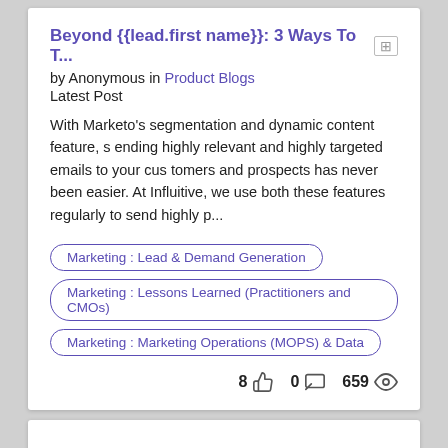Beyond {{lead.first name}}: 3 Ways To T...
by Anonymous in Product Blogs
Latest Post
With Marketo's segmentation and dynamic content feature, sending highly relevant and highly targeted emails to your customers and prospects has never been easier. At Influitive, we use both these features regularly to send highly p...
Marketing: Lead & Demand Generation
Marketing: Lessons Learned (Practitioners and CMOs)
Marketing: Marketing Operations (MOPS) & Data
8 👍  0 💬  659 👁
[Figure (logo): A logo with a gold/yellow circular shape, red and white decorative top element, and a blue curved line at the bottom.]